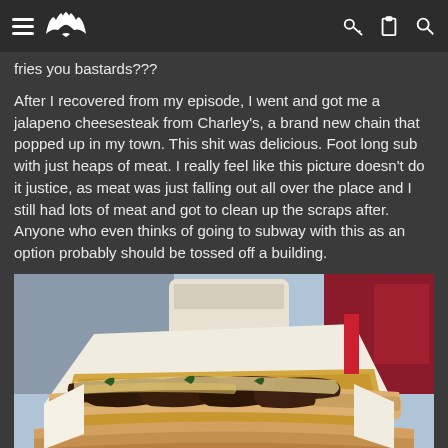[Navigation bar with hamburger menu, eagle logo, key icon, clipboard icon, search icon]
fries you bastards???
After I recovered from my episode, I went and got me a jalapeno cheesesteak from Charley's, a brand new chain that popped up in my town. This shit was delicious. Foot long sub with just heaps of meat. I really feel like this picture doesn't do it justice, as meat was just falling out all over the place and I still had lots of meat and got to clean up the scraps after. Anyone who even thinks of going to subway with this as an option probably should be tossed off a building.
[Figure (photo): Close-up photo of a cheesesteak sandwich in a cardboard boat/tray, showing grilled meat with melted cheese on a hoagie roll, wrapped in white paper, with a drink cup visible in the background.]